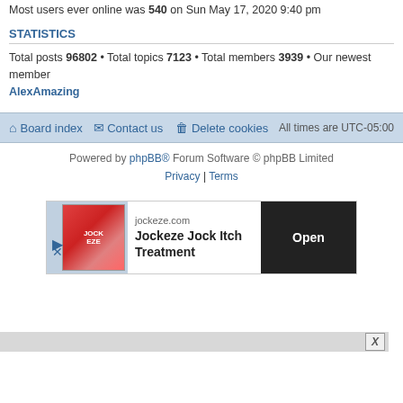Most users ever online was 540 on Sun May 17, 2020 9:40 pm
STATISTICS
Total posts 96802 • Total topics 7123 • Total members 3939 • Our newest member AlexAmazing
Board index   Contact us   Delete cookies   All times are UTC-05:00
Powered by phpBB® Forum Software © phpBB Limited
Privacy | Terms
[Figure (other): Advertisement for Jockeze Jock Itch Treatment with Open button]
X close bar